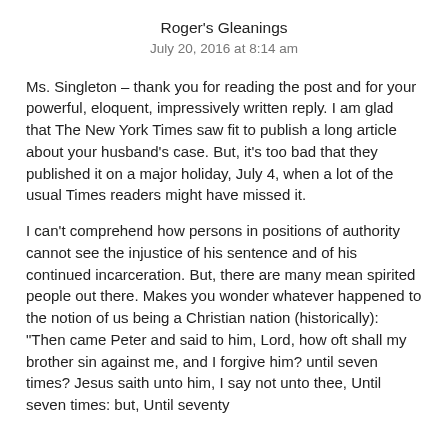Roger's Gleanings
July 20, 2016 at 8:14 am
Ms. Singleton – thank you for reading the post and for your powerful, eloquent, impressively written reply. I am glad that The New York Times saw fit to publish a long article about your husband's case. But, it's too bad that they published it on a major holiday, July 4, when a lot of the usual Times readers might have missed it.
I can't comprehend how persons in positions of authority cannot see the injustice of his sentence and of his continued incarceration. But, there are many mean spirited people out there. Makes you wonder whatever happened to the notion of us being a Christian nation (historically): "Then came Peter and said to him, Lord, how oft shall my brother sin against me, and I forgive him? until seven times? Jesus saith unto him, I say not unto thee, Until seven times: but, Until seventy